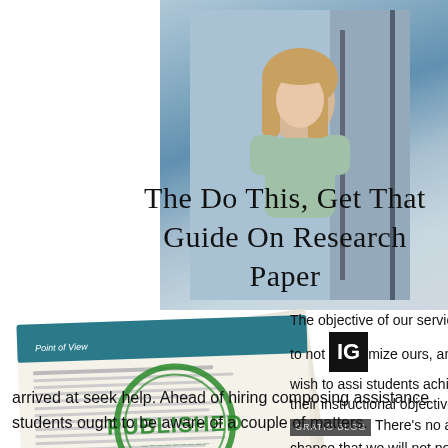[Figure (photo): Background photo of a young woman with blond hair standing in front of a train/tram, wearing a light green sweater. Blue and grey tones.]
The Do This, Get That Guide On Research Paper
[Figure (illustration): Image of a published journal/research paper with a green PUBLISHED stamp on it, tilted at an angle. Text on paper reads 'Point of View', 'Publishing a journal is hard. Are you an aspiring journal editors who want to guide speakers'.]
The objective of our service is to not optimize ours, and we wish to assist students achieve their instructional objectives. There's no any chance that we will not possess your back after you arrived at seek help. Ahead of hiring composing assistance students ought to be aware of a couple of matters.